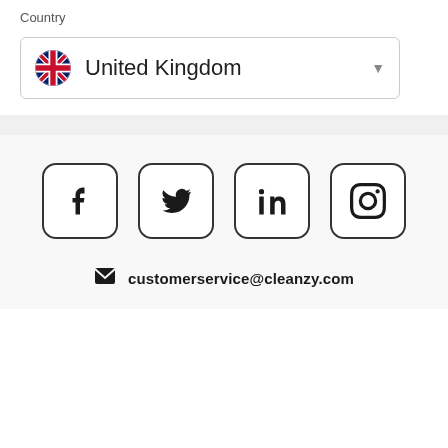Country
[Figure (screenshot): Dropdown selector showing United Kingdom with UK flag icon and dropdown arrow]
[Figure (infographic): Four social media icon buttons in rounded square borders: Facebook (f), Twitter (bird), LinkedIn (in), Instagram (camera)]
customerservice@cleanzy.com